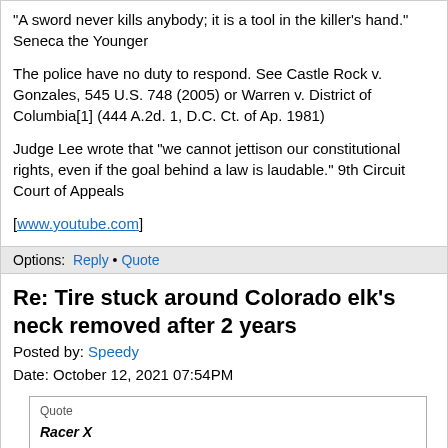“A sword never kills anybody; it is a tool in the killer’s hand.” Seneca the Younger
The police have no duty to respond. See Castle Rock v. Gonzales, 545 U.S. 748 (2005) or Warren v. District of Columbia[1] (444 A.2d. 1, D.C. Ct. of Ap. 1981)
Judge Lee wrote that “we cannot jettison our constitutional rights, even if the goal behind a law is laudable.” 9th Circuit Court of Appeals
[www.youtube.com]
Options: Reply • Quote
Re: Tire stuck around Colorado elk’s neck removed after 2 years
Posted by: Speedy
Date: October 12, 2021 07:54PM
Quote
Racer X
Makes him less of a target for hunters.

See what I did there?

Not that I have anything against hunting if you are doing it for food, or sanctioned and scientifically reasonable population control.
The buck is now famous so some hunters will be gunning for him, rack or no rack.